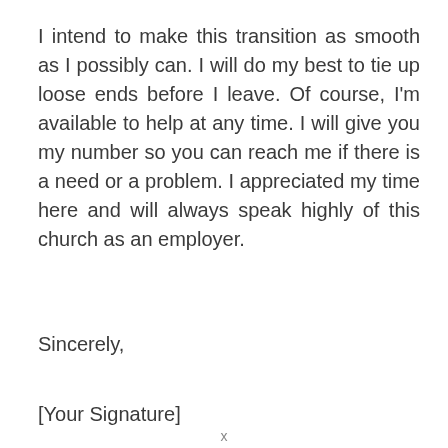I intend to make this transition as smooth as I possibly can. I will do my best to tie up loose ends before I leave. Of course, I'm available to help at any time. I will give you my number so you can reach me if there is a need or a problem. I appreciated my time here and will always speak highly of this church as an employer.
Sincerely,
[Your Signature]